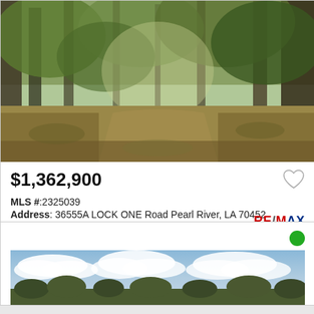[Figure (photo): Outdoor wooded land property photo showing a grassy clearing or path surrounded by trees with dappled sunlight]
$1,362,900
MLS #:2325039
Address: 36555A LOCK ONE Road Pearl River, LA 70452
[Figure (logo): RE/MAX logo]
[Figure (photo): Outdoor landscape photo showing blue sky with white clouds and treeline at bottom]